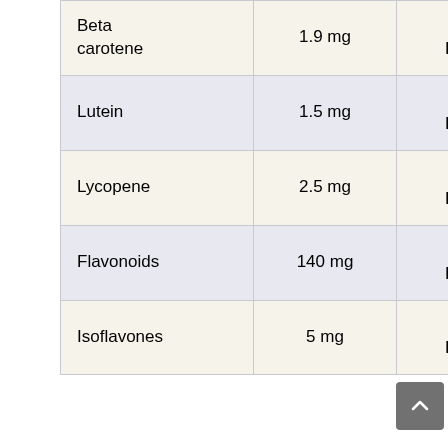| Beta carotene | 1.9 mg | No RDA | 7 mg | 27 |
| Lutein | 1.5 mg | No RDA | 6 mg | 25 |
| Lycopene | 2.5 mg | No RDA | 5 mg | 50 |
| Flavonoids | 140 mg | No RDA | 250 mg | 56 |
| Isoflavones | 5 mg | No RDA | 40 mg | 12 |